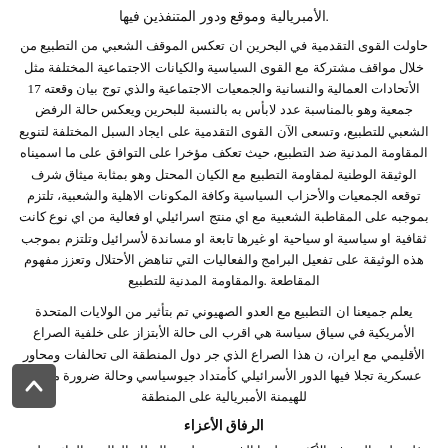.الأمبريالية وموقع ودور المتنفذين فيها
حاولت القوى التقدمية في البحرين ان تعكس الموقف الشعبي من التطبيع من خلال مواقف مشتركة مع القوى السياسية والكيانات الاجتماعية المختلفة مثل الأتحادات العمالية والنسانية والجمعيات الاجتماعية والذي تو​ج بيان وقعته 17 جمعية وهو بالمناسبة عدد لابأس به بالنسبة للبحرين ويعكس حالة الرفض الشعبي للتطبيع، وتسعى الآن القوى التقدمية على ايجاد السبل المختلفة لتنويع المقاومة المدنية ضد التطبيع، حيث تعكف مؤخرا على التوافق على ما اسميناه الوثيقة الوطنية لمقاومة التطبيع مع الكيان المحتل وهو بمثابة ميثاق شرف توقعه الجمعيات والأحزاب السياسية وكافة المكونات الاهلية والشعبية، تلتزم بموجبه على المقاطبة الشعبية مع اي منتج اسرائيلي او فعالية من اي نوع كانت ثقافية او سياسية او سياحية او غيرها تابعة او مساندة لأسرائيل وتلتزم بموجب هذه الوثيقة على تفعيل البرامج والفعاليات التي تناهض الأحتلال وتعزز مفهوم المقاطعة .والمقاومة المدنية للتطبيع
يعلم جميعنا ان التطبيع مع العدو الصهيوني تم بتأثير من الولايات المتحدة الأمريكية في سياق سياسة هي اقرب الى حالة الأبتزاز على خلفية الصراع الأقليمي مع ايران، ن هذا الصراع الذي جر دول المنطقة الى تحالفات ومحاور عسكرية تجلا فيها الدور الأسرائيلي كأمتداد جيوسياسي وحالة ضرورة متممة للهيمنة الأمبريالية على المنطقة
الرفاق الأعزاء
فلسطين النموذج الأكثر سطوءا الذي يبرز طبيعة النظام العالمي القائم على تقسيم العمل بتكون فيه انظمة دول والمسمو العالم الثالث تابعة ومنفذة